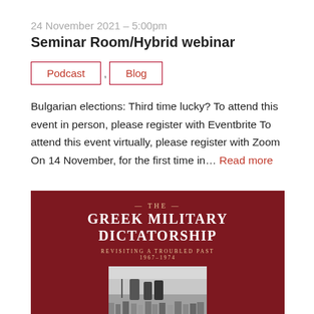24 November 2021 – 5:00pm
Seminar Room/Hybrid webinar
Podcast , Blog
Bulgarian elections: Third time lucky? To attend this event in person, please register with Eventbrite To attend this event virtually, please register with Zoom On 14 November, for the first time in… Read more
[Figure (illustration): Book cover for 'The Greek Military Dictatorship: Revisiting a Troubled Past 1967–1974' on a dark red background with a black-and-white historical photo]